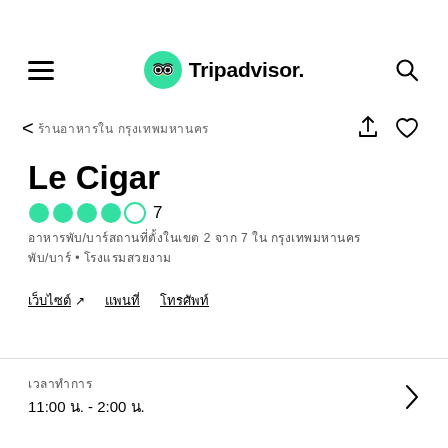[Figure (logo): Tripadvisor logo with owl icon and text]
< ร้านอาหารใน กรุงเทพมหานคร
Le Cigar
●●●●○ 7
อาหารผับ/บาร์สถานที่ตั้งในเขต 2 จาก 7 ใน กรุงเทพมหานคร ผับ/บาร์ • โรงแรมสวยงาม
เว็บไซต์ ↗  แผนที่  โทรศัพท์
เวลาทำการ
11:00 น. - 2:00 น.